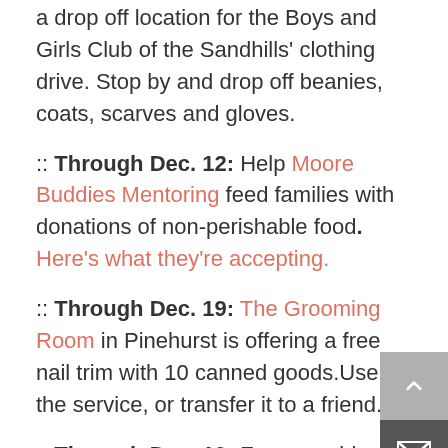a drop off location for the Boys and Girls Club of the Sandhills' clothing drive. Stop by and drop off beanies, coats, scarves and gloves.
:: Through Dec. 12: Help Moore Buddies Mentoring feed families with donations of non-perishable food. Here's what they're accepting.
:: Through Dec. 19: The Grooming Room in Pinehurst is offering a free nail trim with 10 canned goods.Use the service, or transfer it to a friend.
:: Through Dec. 19: For years bicycle master Earl Wright has donated sets of wheels to local children, and his Project Santa. Thi